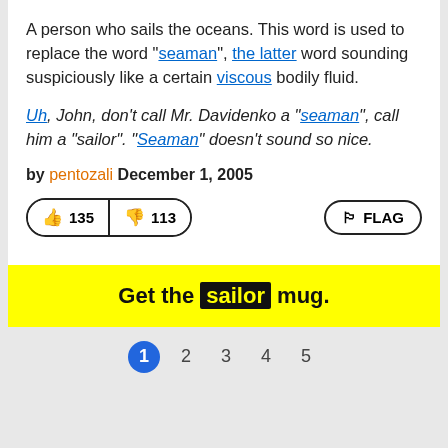A person who sails the oceans. This word is used to replace the word "seaman", the latter word sounding suspiciously like a certain viscous bodily fluid.
Uh, John, don't call Mr. Davidenko a "seaman", call him a "sailor". "Seaman" doesn't sound so nice.
by pentozali December 1, 2005
[Figure (infographic): Vote buttons showing thumbs up 135, thumbs down 113, and a FLAG button]
Get the sailor mug.
1 2 3 4 5 (pagination)